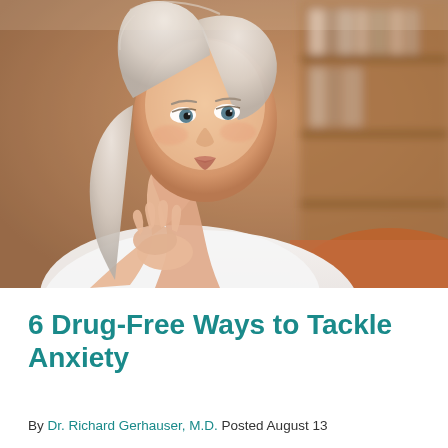[Figure (photo): Photograph of a middle-aged woman with white/blonde hair, resting her chin on clasped hands, gazing upward with a thoughtful or contemplative expression. She is wearing a white blouse. The background shows warm-toned wooden shelves with books, softly blurred.]
6 Drug-Free Ways to Tackle Anxiety
By Dr. Richard Gerhauser, M.D. Posted August 13